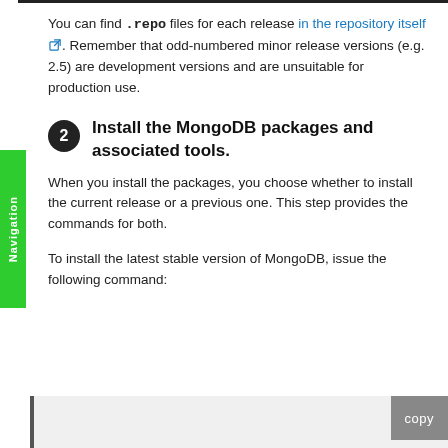You can find .repo files for each release in the repository itself. Remember that odd-numbered minor release versions (e.g. 2.5) are development versions and are unsuitable for production use.
2. Install the MongoDB packages and associated tools.
When you install the packages, you choose whether to install the current release or a previous one. This step provides the commands for both.
To install the latest stable version of MongoDB, issue the following command:
[Figure (screenshot): Code block area with a copy button on the right, showing bottom edge of a command block]